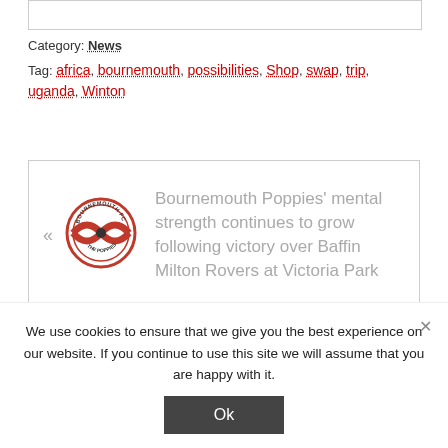Category: News
Tag: africa, bournemouth, possibilities, Shop, swap, trip, uganda, Winton
[Figure (other): Navigation box with Bournemouth FC logo and article preview text: Bournemouth Poppies' mental strength continues to grow following victory over Baffin Milton Rovers at Victoria Park]
We use cookies to ensure that we give you the best experience on our website. If you continue to use this site we will assume that you are happy with it.
Ok